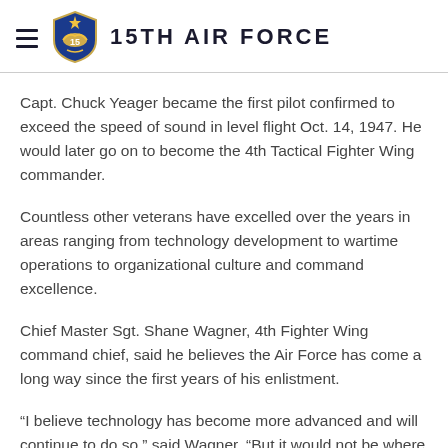15TH AIR FORCE
Capt. Chuck Yeager became the first pilot confirmed to exceed the speed of sound in level flight Oct. 14, 1947. He would later go on to become the 4th Tactical Fighter Wing commander.
Countless other veterans have excelled over the years in areas ranging from technology development to wartime operations to organizational culture and command excellence.
Chief Master Sgt. Shane Wagner, 4th Fighter Wing command chief, said he believes the Air Force has come a long way since the first years of his enlistment.
“I believe technology has become more advanced and will continue to do so,” said Wagner. “But it would not be where it is today if it weren’t for the Air Force’s focus on...